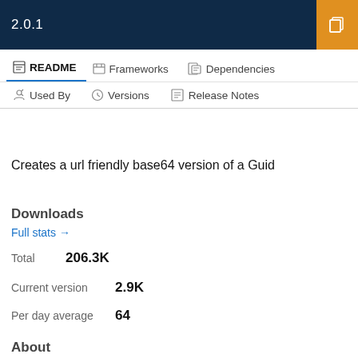2.0.1
README  Frameworks  Dependencies  Used By  Versions  Release Notes
Creates a url friendly base64 version of a Guid
Downloads
Full stats →
Total  206.3K
Current version  2.9K
Per day average  64
About